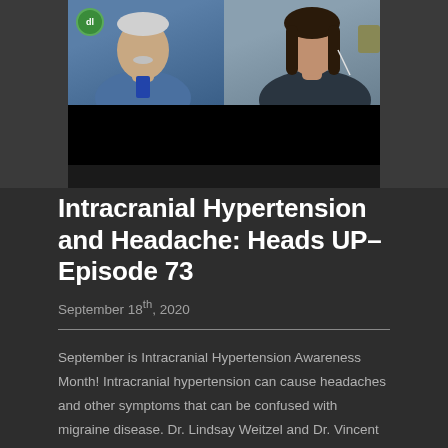[Figure (screenshot): Video thumbnail/screenshot showing two people in a video call — an older man in a blue shirt on the left and a woman on the right. A red YouTube play button icon is visible at the top center. There is a black bar below the video frames.]
Intracranial Hypertension and Headache: Heads UP–Episode 73
September 18th, 2020
September is Intracranial Hypertension Awareness Month! Intracranial hypertension can cause headaches and other symptoms that can be confused with migraine disease. Dr. Lindsay Weitzel and Dr. Vincent Martin discuss symptoms, causes, and treatments related to